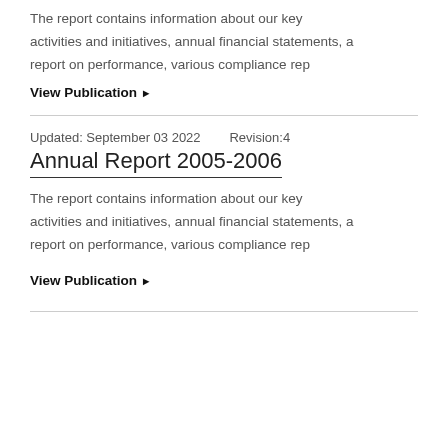The report contains information about our key activities and initiatives, annual financial statements, a report on performance, various compliance rep
View Publication ▶
Updated: September 03 2022    Revision:4
Annual Report 2005-2006
The report contains information about our key activities and initiatives, annual financial statements, a report on performance, various compliance rep
View Publication ▶